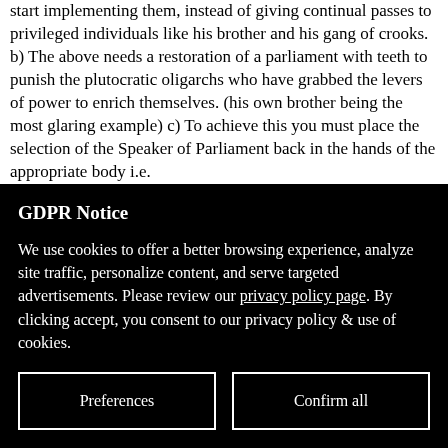start implementing them, instead of giving continual passes to privileged individuals like his brother and his gang of crooks. b) The above needs a restoration of a parliament with teeth to punish the plutocratic oligarchs who have grabbed the levers of power to enrich themselves. (his own brother being the most glaring example)
c) To achieve this you must place the selection of the Speaker of Parliament back in the hands of the appropriate body i.e.
GDPR Notice
We use cookies to offer a better browsing experience, analyze site traffic, personalize content, and serve targeted advertisements. Please review our privacy policy page. By clicking accept, you consent to our privacy policy & use of cookies.